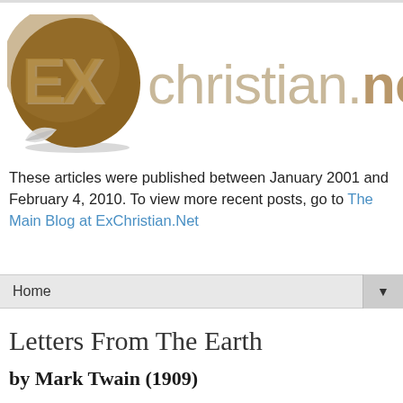[Figure (logo): ExChristian.net logo — bronze/tan circle with 'EX' text and a peeling sticker effect, next to the text 'christian.net' in light tan serif/sans font]
These articles were published between January 2001 and February 4, 2010. To view more recent posts, go to The Main Blog at ExChristian.Net
Home ▼
Letters From The Earth
by Mark Twain (1909)
The Creator sat upon the throne, thinking,